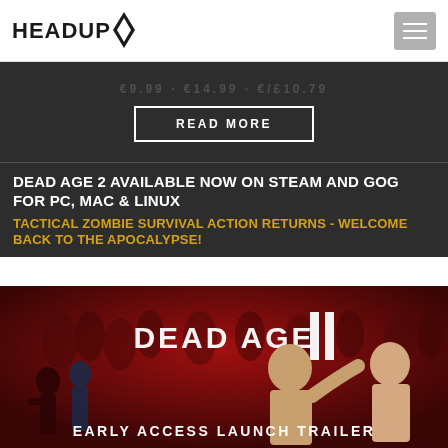HEADUP
READ MORE
DEAD AGE 2 AVAILABLE NOW ON STEAM AND GOG FOR PC, MAC & LINUX
TACTICAL ZOMBIE SURVIVAL ACTION RETURNS - WELCOME BACK TO THE APOCALYPSE!
[Figure (illustration): Dead Age II Early Access Launch Trailer promotional image with characters fighting zombies on dark red background]